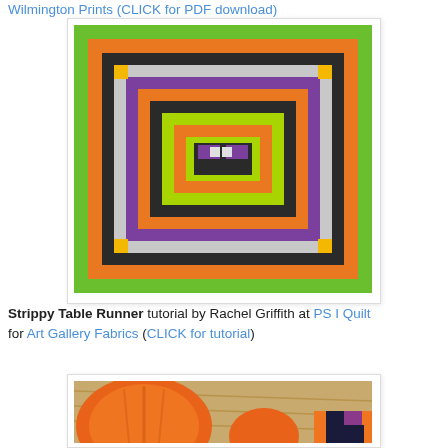Wilmington Prints (CLICK for PDF download)
[Figure (photo): Halloween-themed spiral quilt with concentric square rings in green, orange, black, purple, yellow, and silver/white colors on a square quilt layout]
Strippy Table Runner tutorial by Rachel Griffith at PS I Quilt for Art Gallery Fabrics (CLICK for tutorial)
[Figure (photo): Photo showing orange pumpkins on hay with a quilt featuring orange and dark fabrics visible at the bottom right]